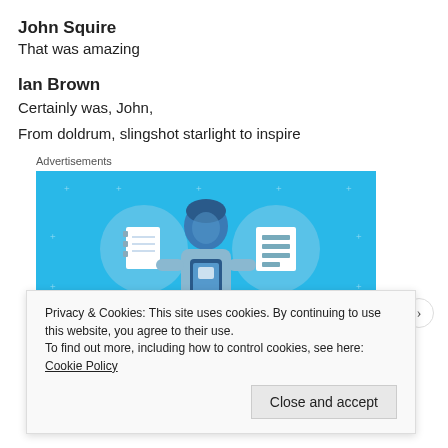John Squire
That was amazing
Ian Brown
Certainly was, John,
From doldrum, slingshot starlight to inspire
Advertisements
[Figure (illustration): Advertisement banner with blue background showing a person holding a phone, flanked by two circular icons (notebook and list), with text 'DAY ONE' at the bottom]
Privacy & Cookies: This site uses cookies. By continuing to use this website, you agree to their use.
To find out more, including how to control cookies, see here: Cookie Policy